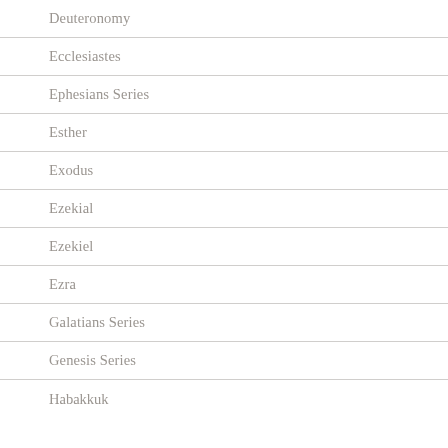Deuteronomy
Ecclesiastes
Ephesians Series
Esther
Exodus
Ezekial
Ezekiel
Ezra
Galatians Series
Genesis Series
Habakkuk